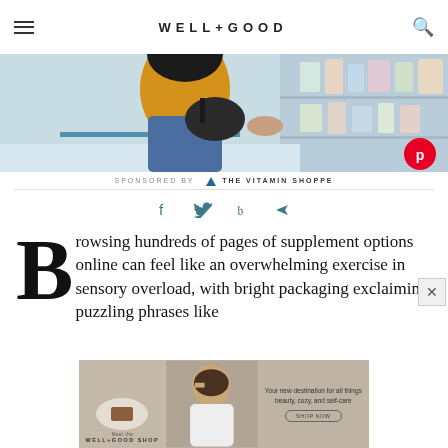WELL+GOOD
[Figure (photo): Hero image showing a person in a yellow top and jeans carrying a black bag, standing in front of pharmacy/supplement shelves. Has a Pinterest save button overlay.]
SPONSORED BY  THE VITAMIN SHOPPE
[Figure (infographic): Social sharing icons: Facebook, Twitter, Pinterest, and share/send icon in teal color]
Browsing hundreds of pages of supplement options online can feel like an overwhelming exercise in sensory overload, with bright packaging exclaiming puzzling phrases like
[Figure (screenshot): Advertisement banner for Well+Good Shop showing products and a woman, with text 'Your new destination for all things beauty, cozy, and self-care' and a shop button]